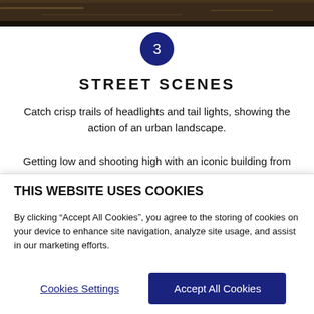[Figure (photo): Dark nighttime street scene photo at the top of the page]
3
STREET SCENES
Catch crisp trails of headlights and tail lights, showing the action of an urban landscape.
Getting low and shooting high with an iconic building from a large city can make your Live Composite images much more interesting, and if you can wait for a bus to go by
THIS WEBSITE USES COOKIES
By clicking “Accept All Cookies”, you agree to the storing of cookies on your device to enhance site navigation, analyze site usage, and assist in our marketing efforts.
Cookies Settings
Accept All Cookies